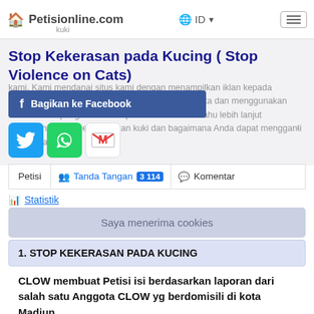Petisionline.com  ID  ☰
Stop Kekerasan pada Kucing ( Stop Violence on Cats)
kami. Kami mendanai situs kami dengan menampilkan iklan kepada pengunjung. Partner kami akan mengumpulkan data dan menggunakan cookie untuk pengukuran dan personalisasi. Cari tahu lebih lanjut bagaimana kami menggunakan kuki dan bagaimana Anda dapat mengganŧi pengaturan.
[Figure (screenshot): Facebook share button (blue), Twitter bird icon (blue), WhatsApp icon (green), Gmail M icon (red)]
Petisi   👥 Tanda Tangan 3 114   💬 Komentar
📊 Statistik
Saya menerima cookies
1. STOP KEKERASAN PADA KUCING
CLOW membuat Petisi isi berdasarkan laporan dari salah satu Anggota CLOW yg berdomisili di kota Madiun.